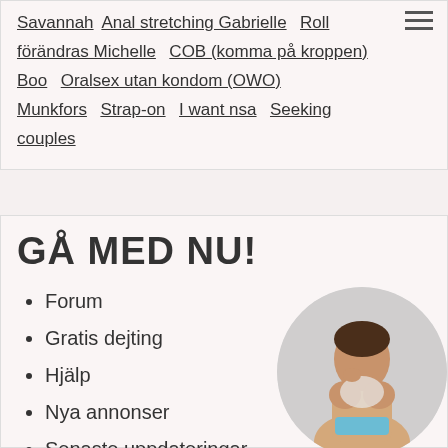Savannah  Anal stretching Gabrielle  Roll förändras Michelle  COB (komma på kroppen)  Boo  Oralsex utan kondom (OWO) Munkfors  Strap-on  I want nsa  Seeking couples
GÅ MED NU!
Forum
Gratis dejting
Hjälp
Nya annonser
Senaste uppdateringar
Recensioner
Tjänster
[Figure (photo): Circular cropped photo of a woman in a bikini top]